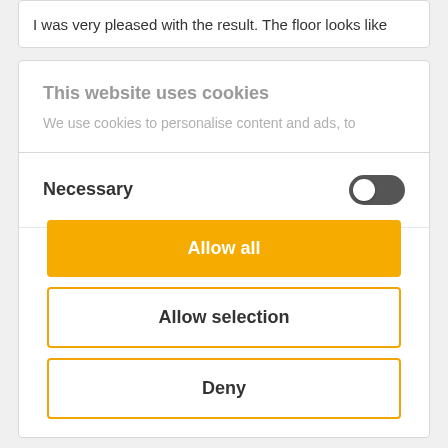I was very pleased with the result. The floor looks like
This website uses cookies
We use cookies to personalise content and ads, to
Necessary
Allow all
Allow selection
Deny